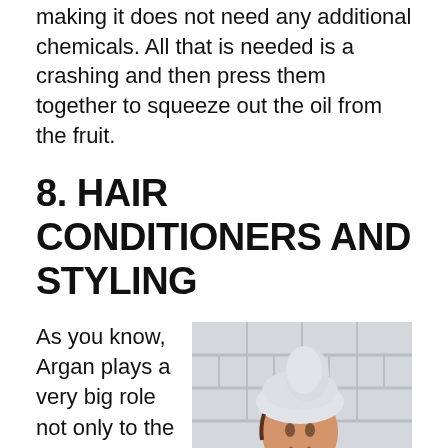making it does not need any additional chemicals. All that is needed is a crashing and then press them together to squeeze out the oil from the fruit.
8. HAIR CONDITIONERS AND STYLING
[Figure (photo): A woman with her hair wrapped in a white towel, leaning on a bathtub ledge, smiling. Bathroom with white tile wall in background.]
As you know, Argan plays a very big role not only to the skin but also to the hair. It is a great product for your hair. Argan oil aid in protecting against